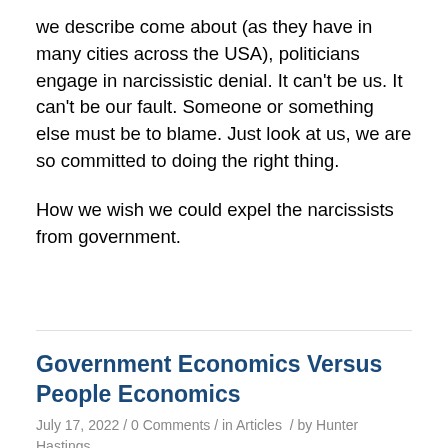we describe come about (as they have in many cities across the USA), politicians engage in narcissistic denial. It can't be us. It can't be our fault. Someone or something else must be to blame. Just look at us, we are so committed to doing the right thing.

How we wish we could expel the narcissists from government.
Government Economics Versus People Economics
July 17, 2022 / 0 Comments / in Articles / by Hunter Hastings